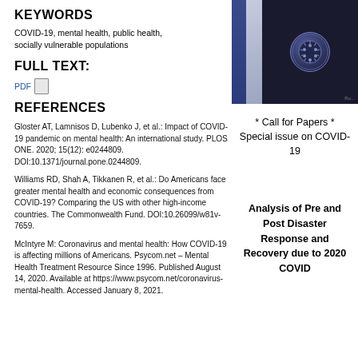KEYWORDS
COVID-19, mental health, public health, socially vulnerable populations
FULL TEXT:
PDF
REFERENCES
Gloster AT, Lamnisos D, Lubenko J, et al.: Impact of COVID-19 pandemic on mental health: An international study. PLOS ONE. 2020; 15(12): e0244809. DOI:10.1371/journal.pone.0244809.
Williams RD, Shah A, Tikkanen R, et al.: Do Americans face greater mental health and economic consequences from COVID-19? Comparing the US with other high-income countries. The Commonwealth Fund. DOI:10.26099/w81v-7659.
McIntyre M: Coronavirus and mental health: How COVID-19 is affecting millions of Americans. Psycom.net - Mental Health Treatment Resource Since 1996. Published August 14, 2020. Available at https://www.psycom.net/coronavirus-mental-health. Accessed January 8, 2021.
[Figure (photo): Dark background image with a virus/coronavirus illustration in blue tones, beside a blue sidebar panel]
* Call for Papers * Special issue on COVID-19
Analysis of Pre and Post Disaster Response and Recovery due to 2020 COVID